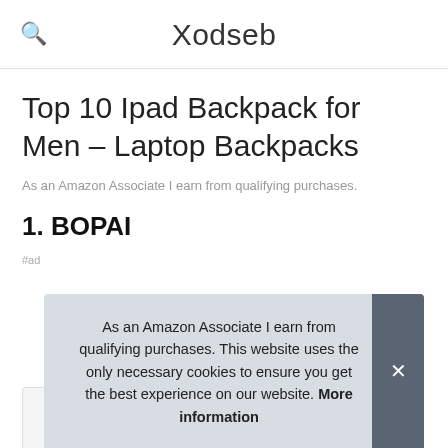Xodseb
Top 10 Ipad Backpack for Men – Laptop Backpacks
As an Amazon Associate I earn from qualifying purchases.
1. BOPAI
#ad
As an Amazon Associate I earn from qualifying purchases. This website uses the only necessary cookies to ensure you get the best experience on our website. More information